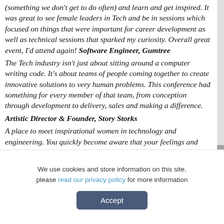(something we don't get to do often) and learn and get inspired. It was great to see female leaders in Tech and be in sessions which focused on things that were important for career development as well as technical sessions that sparked my curiosity. Overall great event, I'd attend again! Software Engineer, Gumtree
The Tech industry isn't just about sitting around a computer writing code. It's about teams of people coming together to create innovative solutions to very human problems. This conference had something for every member of that team, from conception through development to delivery, sales and making a difference.
Artistic Director & Founder, Story Storks
A place to meet inspirational women in technology and engineering. You quickly become aware that your feelings and
We use cookies and store information on this site, please read our privacy policy for more information
Accept